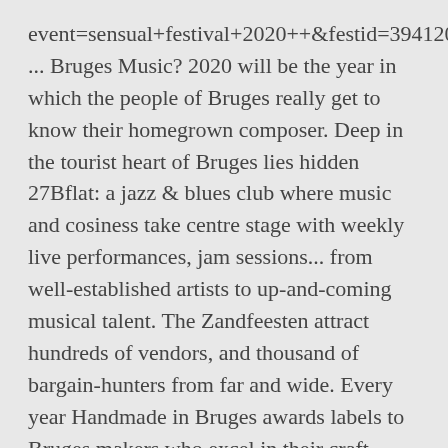event=sensual+festival+2020++&festid=39412031& ... Bruges Music? 2020 will be the year in which the people of Bruges really get to know their homegrown composer. Deep in the tourist heart of Bruges lies hidden 27Bflat: a jazz & blues club where music and cosiness take centre stage with weekly live performances, jam sessions... from well-established artists to up-and-coming musical talent. The Zandfeesten attract hundreds of vendors, and thousand of bargain-hunters from far and wide. Every year Handmade in Bruges awards labels to Bruges makers who excel in their craft. Basilica Of The Holy Blood: Explore It All. After eveluating the restrictions and dealing with COVID-19, t...